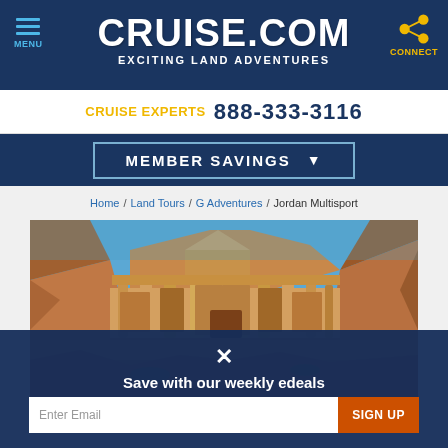MENU | CRUISE.COM EXCITING LAND ADVENTURES | CONNECT
CRUISE EXPERTS 888-333-3116
MEMBER SAVINGS
Home / Land Tours / G Adventures / Jordan Multisport
[Figure (photo): Photo of the ancient Petra monastery carved into sandstone rock face in Jordan, with blue sky above]
Save with our weekly edeals
Enter Email
SIGN UP